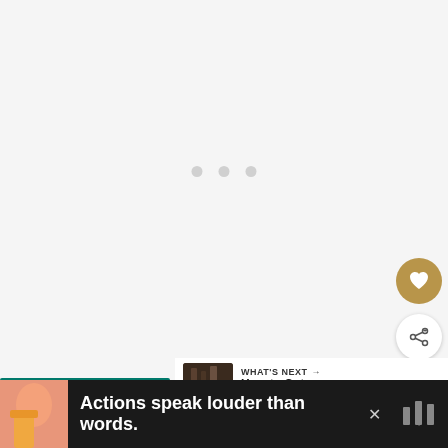[Figure (screenshot): Loading state with three grey dots centered on light grey background]
[Figure (illustration): Circular gold heart/favorite button and white share button floating on right side]
[Figure (screenshot): What's Next panel showing thumbnail and title 'How to Cut Your Own H...']
“Ferns & Petals
[Figure (infographic): Advertisement banner: Actions speak louder than words. with person illustration and logo]